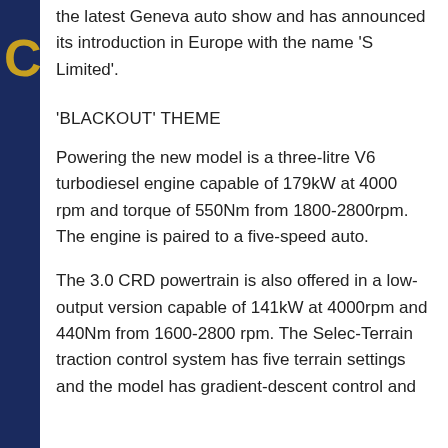the latest Geneva auto show and has announced its introduction in Europe with the name 'S Limited'.
'BLACKOUT' THEME
Powering the new model is a three-litre V6 turbodiesel engine capable of 179kW at 4000 rpm and torque of 550Nm from 1800-2800rpm. The engine is paired to a five-speed auto.
The 3.0 CRD powertrain is also offered in a low-output version capable of 141kW at 4000rpm and 440Nm from 1600-2800 rpm. The Selec-Terrain traction control system has five terrain settings and the model has gradient-descent control and